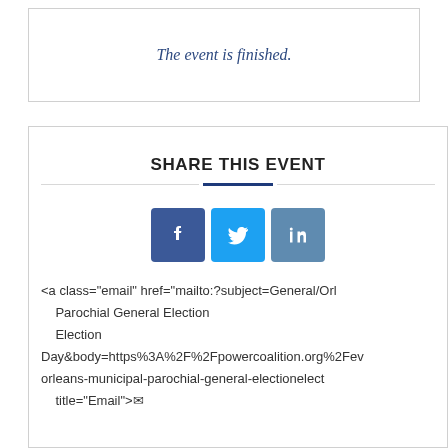The event is finished.
SHARE THIS EVENT
[Figure (other): Social share buttons: Facebook (dark blue), Twitter (light blue), LinkedIn (steel blue)]
<a class="email" href="mailto:?subject=General/Orleans Parochial General Election Election Day&body=https%3A%2F%2Fpowercoalition.org%2Fev/orleans-municipal-parochial-general-electionelect... title="Email">✉